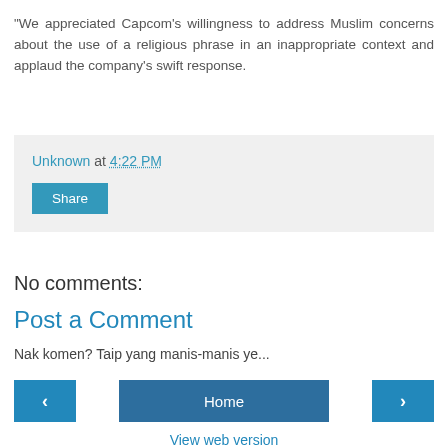"We appreciated Capcom's willingness to address Muslim concerns about the use of a religious phrase in an inappropriate context and applaud the company's swift response.
Unknown at 4:22 PM
Share
No comments:
Post a Comment
Nak komen? Taip yang manis-manis ye...
< Home >
View web version